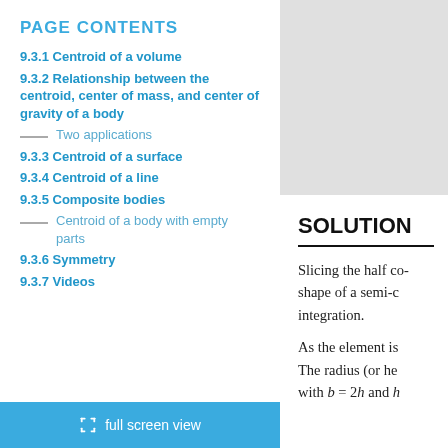PAGE CONTENTS
9.3.1 Centroid of a volume
9.3.2 Relationship between the centroid, center of mass, and center of gravity of a body
Two applications
9.3.3 Centroid of a surface
9.3.4 Centroid of a line
9.3.5 Composite bodies
Centroid of a body with empty parts
9.3.6 Symmetry
9.3.7 Videos
SOLUTION
Slicing the half co- shape of a semi-c integration.
As the element is The radius (or he with b = 2h and h